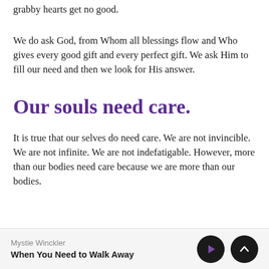grabby hearts get no good.
We do ask God, from Whom all blessings flow and Who gives every good gift and every perfect gift. We ask Him to fill our need and then we look for His answer.
Our souls need care.
It is true that our selves do need care. We are not invincible. We are not infinite. We are not indefatigable. However, more than our bodies need care because we are more than our bodies.
Mystie Winckler
When You Need to Walk Away